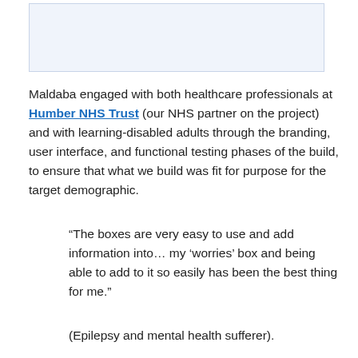[Figure (other): Light blue rectangular placeholder image area with border]
Maldaba engaged with both healthcare professionals at Humber NHS Trust (our NHS partner on the project) and with learning-disabled adults through the branding, user interface, and functional testing phases of the build, to ensure that what we build was fit for purpose for the target demographic.
“The boxes are very easy to use and add information into… my ‘worries’ box and being able to add to it so easily has been the best thing for me.”
(Epilepsy and mental health sufferer).